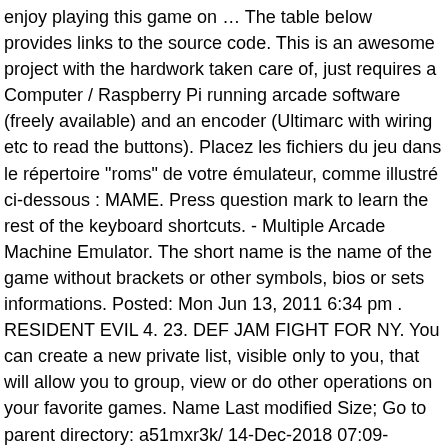enjoy playing this game on … The table below provides links to the source code. This is an awesome project with the hardwork taken care of, just requires a Computer / Raspberry Pi running arcade software (freely available) and an encoder (Ultimarc with wiring etc to read the buttons). Placez les fichiers du jeu dans le répertoire "roms" de votre émulateur, comme illustré ci-dessous : MAME. Press question mark to learn the rest of the keyboard shortcuts. - Multiple Arcade Machine Emulator. The short name is the name of the game without brackets or other symbols, bios or sets informations. Posted: Mon Jun 13, 2011 6:34 pm . RESIDENT EVIL 4. 23. DEF JAM FIGHT FOR NY. You can create a new private list, visible only to you, that will allow you to group, view or do other operations on your favorite games. Name Last modified Size; Go to parent directory: a51mxr3k/ 14-Dec-2018 07:09-area51/ 14-Dec-2018 07:09-area51mx/ 14-Dec-2018 07:09-biofreak/ 14-Dec-2018 07:09-blitz/ 14-Dec-2018 07:09-blitz2k/ 14-Dec-2018 07:09-blitz99/ 14-Dec-2018 07:09-bm1stmix/ 14-Dec-2018 07:09-bm2ndmix/ 14-Dec-2018 07:09-bm2ndmxa/ 14-Dec-2018 07:09 -